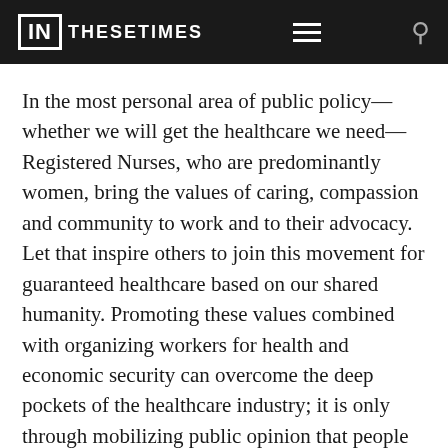IN THESE TIMES
In the most personal area of public policy—whether we will get the healthcare we need—Registered Nurses, who are predominantly women, bring the values of caring, compassion and community to work and to their advocacy. Let that inspire others to join this movement for guaranteed healthcare based on our shared humanity. Promoting these values combined with organizing workers for health and economic security can overcome the deep pockets of the healthcare industry; it is only through mobilizing public opinion that people have overcome politically powerful economic forces.
In demanding guaranteed healthcare through